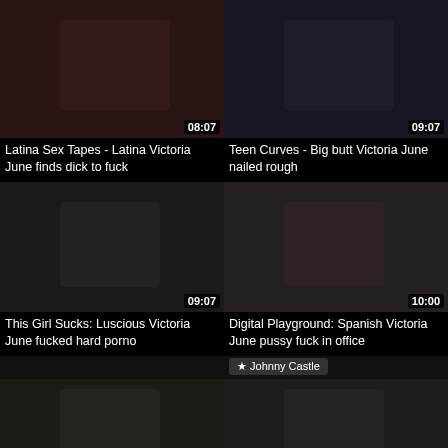[Figure (photo): Video thumbnail top-left with duration 08:07]
Latina Sex Tapes - Latina Victoria June finds dick to fuck
[Figure (photo): Video thumbnail top-right with duration 09:07]
Teen Curves - Big butt Victoria June nailed rough
[Figure (photo): Video thumbnail middle-left with duration 09:07]
This Girl Sucks: Luscious Victoria June fucked hard porno
[Figure (photo): Video thumbnail middle-right with duration 10:00, star tag Johnny Castle]
Digital Playground: Spanish Victoria June pussy fuck in office
[Figure (photo): Video thumbnail bottom-left with duration 10:03]
[Figure (photo): Video thumbnail bottom-right with duration 10:07]